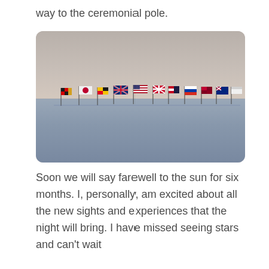way to the ceremonial pole.
[Figure (photo): Photograph of multiple international flags on poles planted in a flat Antarctic snow field, with a hazy sky in the background.]
Soon we will say farewell to the sun for six months. I, personally, am excited about all the new sights and experiences that the night will bring. I have missed seeing stars and can't wait